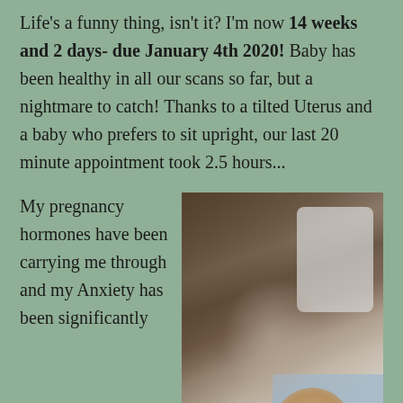Life's a funny thing, isn't it? I'm now 14 weeks and 2 days- due January 4th 2020! Baby has been healthy in all our scans so far, but a nightmare to catch! Thanks to a tilted Uterus and a baby who prefers to sit upright, our last 20 minute appointment took 2.5 hours...
My pregnancy hormones have been carrying me through and my Anxiety has been significantly
[Figure (photo): A photo of a pregnant woman's torso showing a baby bump, wearing a grey tank top and open plaid shirt, with a white pillow and blue couch visible in the background.]